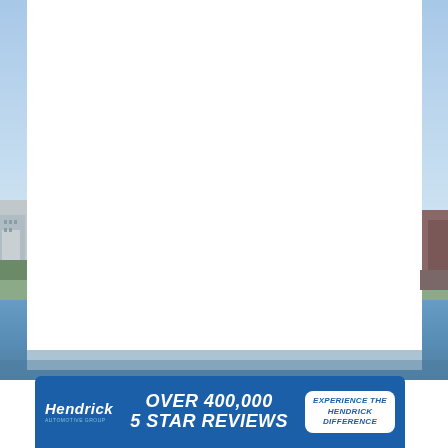[Figure (photo): Background photo showing buildings along a waterfront with a clear blue sky. Large white rectangular area overlays most of the center. Small building visible on far left edge and right edge.]
[Figure (infographic): Hendrick Automotive Group advertisement banner. Blue background with Hendrick logo on left, large bold italic text 'OVER 400,000 5 STAR REVIEWS' in center, and white rounded rectangle button on right reading 'EXPERIENCE THE HENDRICK DIFFERENCE'.]